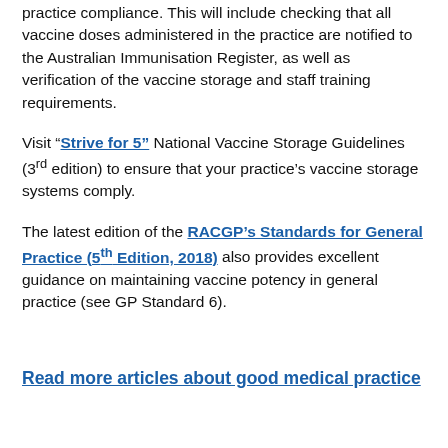practice compliance. This will include checking that all vaccine doses administered in the practice are notified to the Australian Immunisation Register, as well as verification of the vaccine storage and staff training requirements.
Visit “Strive for 5” National Vaccine Storage Guidelines (3rd edition) to ensure that your practice’s vaccine storage systems comply.
The latest edition of the RACGP’s Standards for General Practice (5th Edition, 2018) also provides excellent guidance on maintaining vaccine potency in general practice (see GP Standard 6).
Read more articles about good medical practice